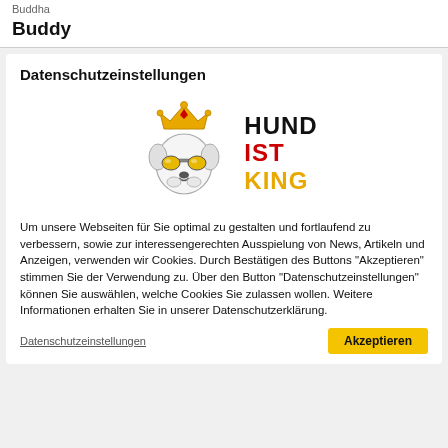Buddha
Buddy
Datenschutzeinstellungen
[Figure (logo): Hund ist King logo: illustrated dog with sunglasses and a crown, next to bold text reading HUND IST KING]
Um unsere Webseiten für Sie optimal zu gestalten und fortlaufend zu verbessern, sowie zur interessengerechten Ausspielung von News, Artikeln und Anzeigen, verwenden wir Cookies. Durch Bestätigen des Buttons "Akzeptieren" stimmen Sie der Verwendung zu. Über den Button "Datenschutzeinstellungen" können Sie auswählen, welche Cookies Sie zulassen wollen. Weitere Informationen erhalten Sie in unserer Datenschutzerklärung.
Datenschutzeinstellungen
Akzeptieren